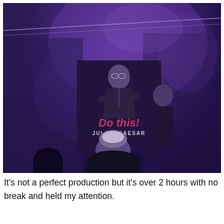[Figure (photo): A blurry low-light photo showing a person holding a large sign/banner that reads 'Do this! JULIUS CAESAR' with an image of a man in a suit on the sign. Another person is visible in the foreground at the bottom of the frame. The scene is lit with purple/violet stage lighting.]
It's not a perfect production but it's over 2 hours with no break and held my attention.